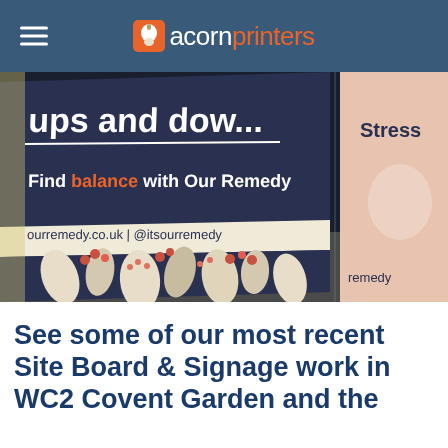acornprinters
[Figure (photo): Photo of printed boards leaning against a surface. The main board has a dark navy background with botanical leaf and berry illustrations, text reading 'ups and dow...' at the top, 'Find balance with Our Remedy' in bold, and 'ourremedy.co.uk | @itsourremedy' below. A second board partially visible to the right has a pale/blush background with 'Stress' text visible.]
See some of our most recent Site Board & Signage work in WC2 Covent Garden and the